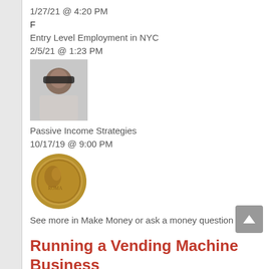1/27/21 @ 4:20 PM
F
Entry Level Employment in NYC
2/5/21 @ 1:23 PM
[Figure (photo): Profile photo of a person wearing sunglasses]
Passive Income Strategies
10/17/19 @ 9:00 PM
[Figure (photo): Image of an ancient coin with a face engraved on it]
See more in Make Money or ask a money question
Running a Vending Machine Business
While owning vending machines does not require any special skills, it is a business.
You will need inventory and someone to keep the machine stocked and maintained. This may require a